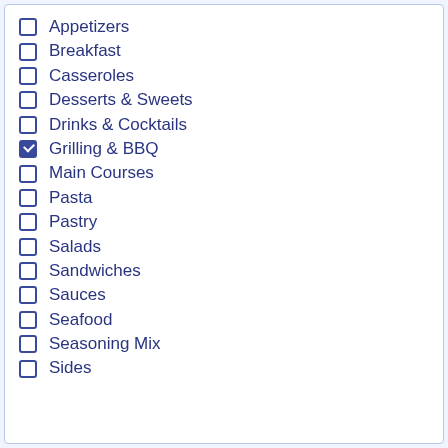Appetizers
Breakfast
Casseroles
Desserts & Sweets
Drinks & Cocktails
Grilling & BBQ
Main Courses
Pasta
Pastry
Salads
Sandwiches
Sauces
Seafood
Seasoning Mix
Sides